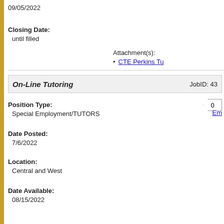09/05/2022
Closing Date:
until filled
Attachment(s):
CTE Perkins Tu
On-Line Tutoring   JobID: 43…
Position Type:
Special Employment/TUTORS
0
Em
Date Posted:
7/6/2022
Location:
Central and West
Date Available:
08/15/2022